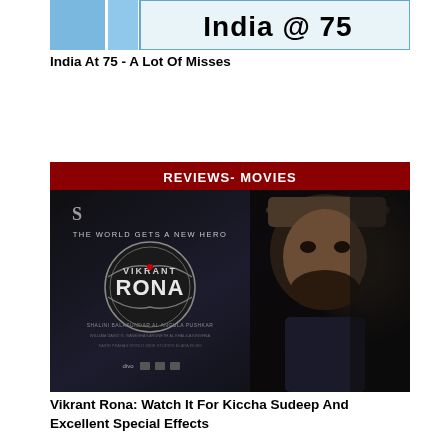[Figure (photo): India @ 75 banner image with blue sky background and bold text 'India @ 75']
India At 75 - A Lot Of Misses
[Figure (photo): Vikrant Rona movie poster with dark background, actor Kiccha Sudeep in hat, and 'REVIEWS- MOVIES' red banner at top. Text reads 'THE WORLD GETS A NEW HERO' and shows the Vikrant Rona logo.]
Vikrant Rona: Watch It For Kiccha Sudeep And Excellent Special Effects